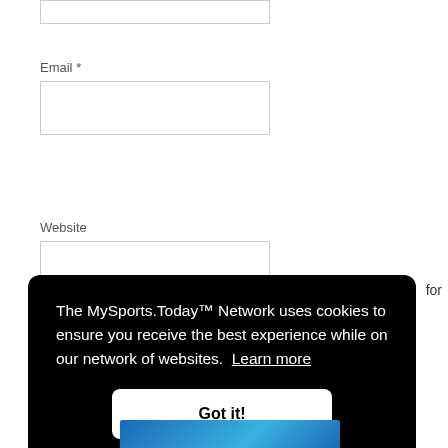[Figure (screenshot): Partially visible text input box at the top of the page]
Email *
[Figure (screenshot): Email input field (empty text box)]
Website
[Figure (screenshot): Website input field (empty text box)]
for
The MySports.Today™ Network uses cookies to ensure you receive the best experience while on our network of websites. Learn more
Got it!
[Figure (screenshot): Blue image strip at the bottom of the page]